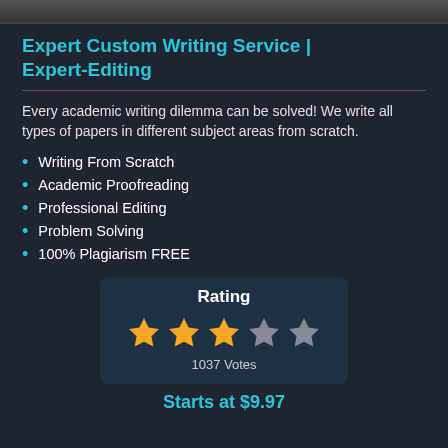[Figure (photo): Top image strip showing partial photo]
Expert Custom Writing Service | Expert-Editing
Every academic writing dilemma can be solved! We write all types of papers in different subject areas from scratch.
Writing From Scratch
Academic Proofreading
Professional Editing
Problem Solving
100% Plagiarism FREE
[Figure (infographic): Rating box showing 3 out of 5 stars with 1037 Votes]
Starts at $9.97